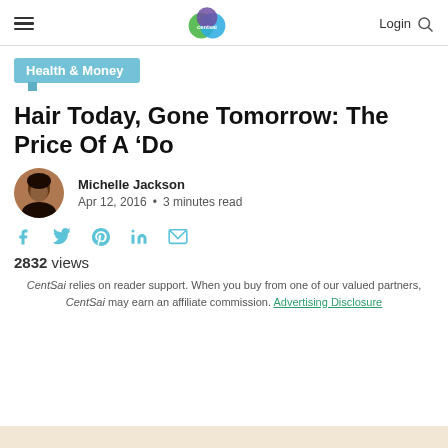CentSai — Login
Health & Money
Hair Today, Gone Tomorrow: The Price Of A ‘Do
Michelle Jackson
Apr 12, 2016 • 3 minutes read
[Figure (illustration): Author avatar photo of Michelle Jackson, a woman with dark hair, circular crop]
[Figure (infographic): Social share icons: Facebook, Twitter, Pinterest, LinkedIn, Email — in teal color]
2832 views
CentSai relies on reader support. When you buy from one of our valued partners, CentSai may earn an affiliate commission. Advertising Disclosure